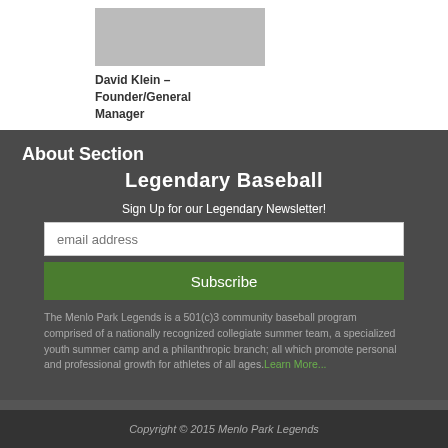[Figure (photo): Headshot photo placeholder of David Klein]
David Klein – Founder/General Manager
About Section
Legendary Baseball
Sign Up for our Legendary Newsletter!
email address
Subscribe
The Menlo Park Legends is a 501(c)3 community baseball program comprised of a nationally recognized collegiate summer team, a specialized youth summer camp and a philanthropic branch; all which promote personal and professional growth for athletes of all ages. Learn More...
Copyright © 2015 Menlo Park Legends